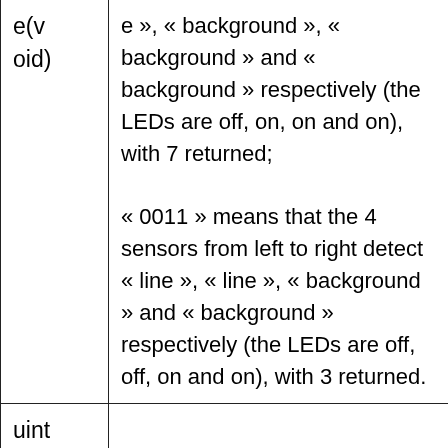| e(void) | e », « background », « background » and « background » respectively (the LEDs are off, on, on and on), with 7 returned;
« 0011 » means that the 4 sensors from left to right detect « line », « line », « background » and « background » respectively (the LEDs are off, off, on and on), with 3 returned. |
| uint |  |